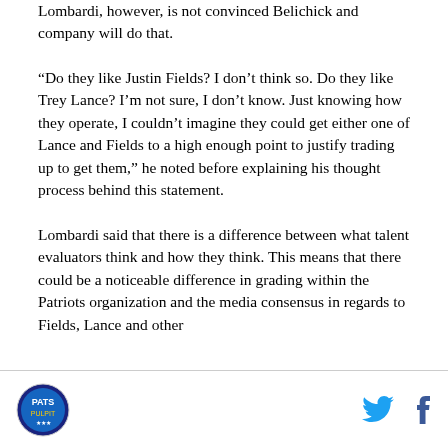Lombardi, however, is not convinced Belichick and company will do that.
“Do they like Justin Fields? I don’t think so. Do they like Trey Lance? I’m not sure, I don’t know. Just knowing how they operate, I couldn’t imagine they could get either one of Lance and Fields to a high enough point to justify trading up to get them,” he noted before explaining his thought process behind this statement.
Lombardi said that there is a difference between what talent evaluators think and how they think. This means that there could be a noticeable difference in grading within the Patriots organization and the media consensus in regards to Fields, Lance and other
[Figure (logo): Circular sports team logo in the bottom left corner of the footer]
[Figure (logo): Twitter bird icon and Facebook 'f' icon in the bottom right of the footer]